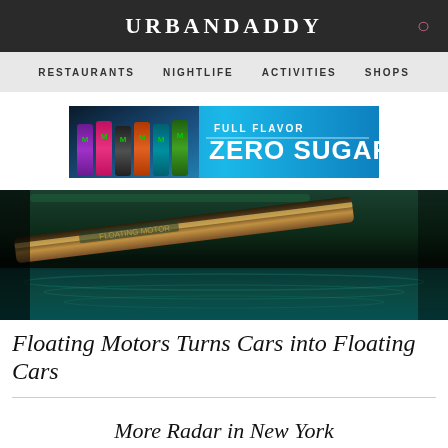URBANDADDY
RESTAURANTS   NIGHTLIFE   ACTIVITIES   SHOPS
[Figure (photo): Monster Energy advertisement banner: colorful cans of Monster Energy drinks on ice with text 'FULL FLAVOR ZERO SUGAR' on a blue background]
[Figure (photo): Close-up photo of what appears to be a car or vehicle with green body and a wooden surfboard or paddleboard floating on turquoise water]
Floating Motors Turns Cars into Floating Cars
More Radar in New York